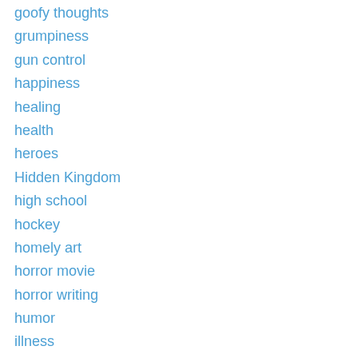goofy thoughts
grumpiness
gun control
happiness
healing
health
heroes
Hidden Kingdom
high school
hockey
homely art
horror movie
horror writing
humor
illness
illustrations
imagination
immigration
insight
inspiration